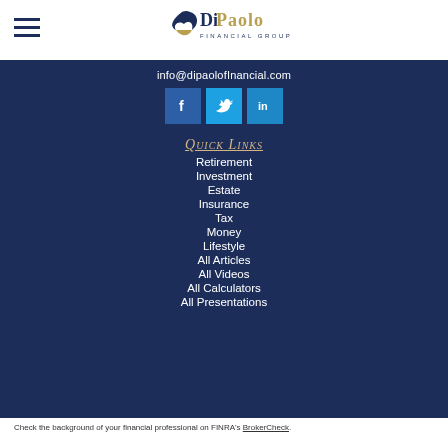[Figure (logo): DiPaolo Financial Group logo with a stylized bird/wing icon and the text 'DiPaolo Financial Group']
info@dipaolofInancial.com
[Figure (infographic): Three social media icons: Facebook (blue square with f), Twitter (light blue square with bird icon), LinkedIn (blue square with in)]
Quick Links
Retirement
Investment
Estate
Insurance
Tax
Money
Lifestyle
All Articles
All Videos
All Calculators
All Presentations
Check the background of your financial professional on FINRA's BrokerCheck.
The content is developed from sources believed to be providing accurate